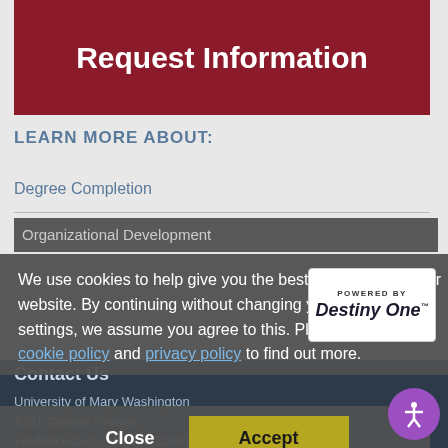Request Information
LEARN MORE ABOUT:
Degree Completion
Organizational Development
We use cookies to help give you the best experience on our website. By continuing without changing your cookie settings, we assume you agree to this. Please read our cookie policy and privacy policy to find out more.
[Figure (logo): Powered by Destiny One logo badge]
Contact Us
University of Mary Washington
1301 College Avenue
Fredericksburg, Virginia 22401
540-654-1000